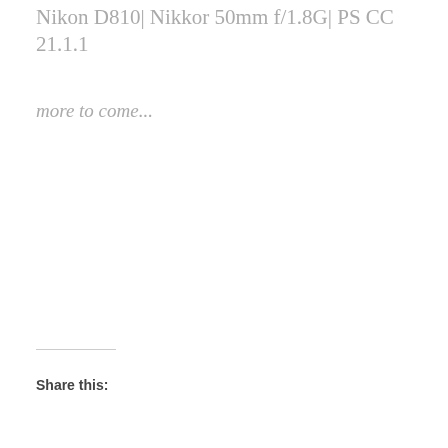Nikon D810| Nikkor 50mm f/1.8G| PS CC 21.1.1
more to come...
Share this: